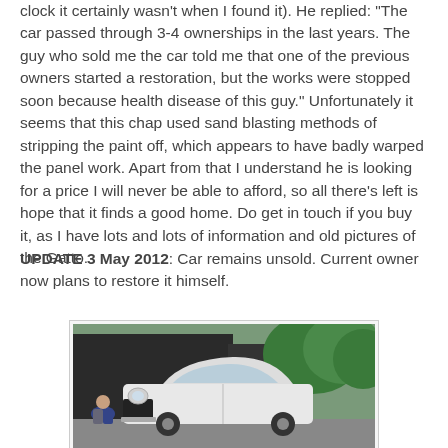clock it certainly wasn't when I found it). He replied: "The car passed through 3-4 ownerships in the last years. The guy who sold me the car told me that one of the previous owners started a restoration, but the works were stopped soon because health disease of this guy." Unfortunately it seems that this chap used sand blasting methods of stripping the paint off, which appears to have badly warped the panel work. Apart from that I understand he is looking for a price I will never be able to afford, so all there's left is hope that it finds a good home. Do get in touch if you buy it, as I have lots and lots of information and old pictures of the Gatto.
UPDATE 3 May 2012: Car remains unsold. Current owner now plans to restore it himself.
[Figure (photo): A white classic car (Gatto) photographed from the front, with a person crouching beside it. The car is parked in front of a dark building with green trees visible in the background.]